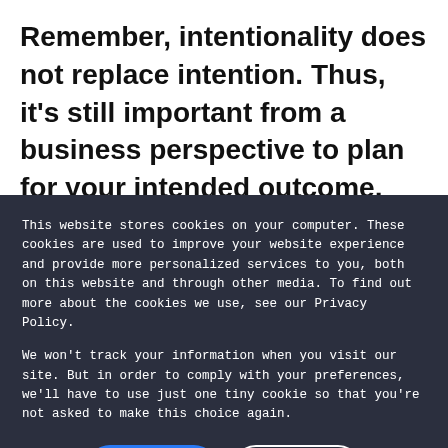Remember, intentionality does not replace intention. Thus, it's still important from a business perspective to plan for your intended outcome, the content and key messages, and decisions needed. Intentionality simply answers a different
This website stores cookies on your computer. These cookies are used to improve your website experience and provide more personalized services to you, both on this website and through other media. To find out more about the cookies we use, see our Privacy Policy.
We won't track your information when you visit our site. But in order to comply with your preferences, we'll have to use just one tiny cookie so that you're not asked to make this choice again.